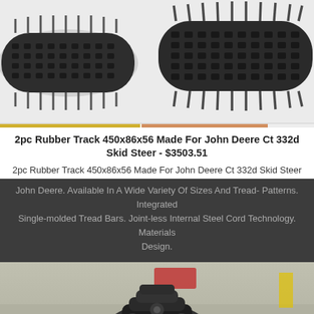[Figure (photo): Two rubber tracks (450x86x56) photographed on white background, one partially visible on left, one on right]
2pc Rubber Track 450x86x56 Made For John Deere Ct 332d Skid Steer - $3503.51
2pc Rubber Track 450x86x56 Made For John Deere Ct 332d Skid Steer
John Deere. Available In A Wide Variety Of Sizes And Tread- Patterns. Integrated Single-molded Tread Bars. Joint-less Internal Steel Cord Technology. Materials Design.
[Figure (photo): Heavy machinery equipment part (rubber track/undercarriage component) on a concrete surface with warehouse/industrial background]